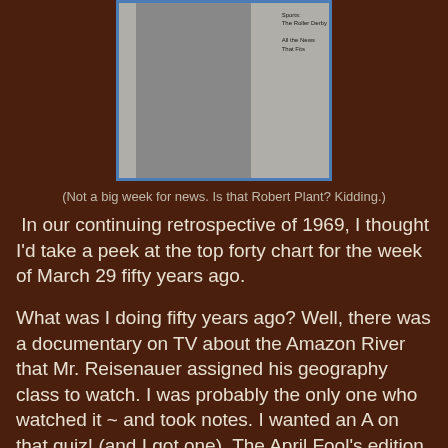[Figure (photo): Black and white magazine cover image showing a person holding something, with text 'Sports: The Roller Derby' and 'All the News That Fits' visible on the right side. Image has a blue border on a white background.]
(Not a big week for news. Is that Robert Plant? Kidding.)
In our continuing retrospective of 1969, I thought I'd take a peek at the top forty chart for the week of March 29 fifty years ago.
What was I doing fifty years ago? Well, there was a documentary on TV about the Amazon River that Mr. Reisenauer assigned his geography class to watch. I was probably the only one who watched it ~ and took notes. I wanted an A on that quiz! (and I got one). The April Fool's edition of TV Guide had landed in our mailbox. Alice and I always giggled over the episode descriptions:  Gomer Pyle, USMC:  "Gomer changes a lightbulb." Saturday night sucked